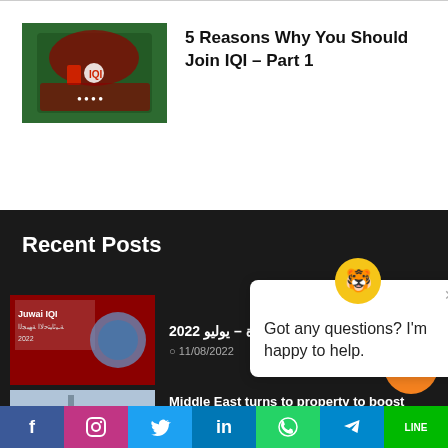[Figure (photo): IQI company group photo with people in red shirts forming logo on green background]
5 Reasons Why You Should Join IQI – Part 1
Recent Posts
[Figure (photo): Juwai IQI magazine cover with Arabic text – يوليو 2022]
– يوليو 2022
11/08/2022
[Figure (photo): Dubai skyline with tall buildings]
Middle East turns to property to boost economy
11/08/2022 👁 10
Got any questions? I'm happy to help.